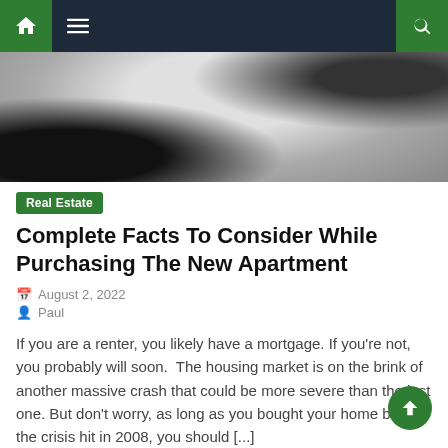Navigation bar with home, menu, and search icons
[Figure (photo): Hero image of a person in a white garment, partially visible, dark background]
Real Estate
Complete Facts To Consider While Purchasing The New Apartment
August 2, 2022
Paul
If you are a renter, you likely have a mortgage. If you're not, you probably will soon.  The housing market is on the brink of another massive crash that could be more severe than the last one. But don't worry, as long as you bought your home before the crisis hit in 2008, you should [...]